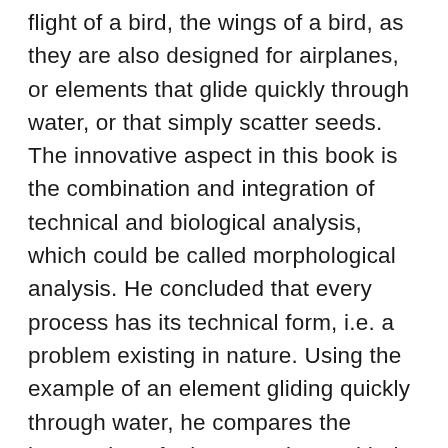flight of a bird, the wings of a bird, as they are also designed for airplanes, or elements that glide quickly through water, or that simply scatter seeds. The innovative aspect in this book is the combination and integration of technical and biological analysis, which could be called morphological analysis. He concluded that every process has its technical form, i.e. a problem existing in nature. Using the example of an element gliding quickly through water, he compares the locomotion of microorganisms with the development of the first torpedoes. The time factor plays an important role here. Evolution has had a lot of time, with trial and error. Individual organisms that were badly adapted are then extinct again. In reality, the same happens in technology. Much of what we buy today is not technically mature. We are in a throwaway society, where there is less time, less